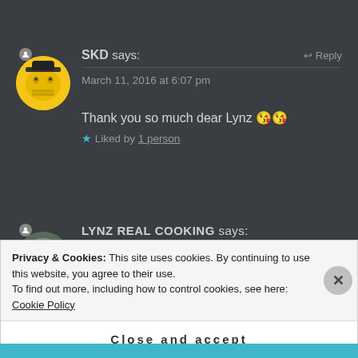[Figure (photo): User avatar for SKD: cartoon face with yellow/smiley appearance, circular crop]
SKD says:
March 11, 2016 at 6:07 pm
Reply
Thank you so much dear Lynz 😘😘
★ Liked by 1 person
[Figure (photo): User avatar for Lynz Real Cooking: woman with glasses, circular crop]
LYNZ REAL COOKING says:
March 11, 2016 at 6:08 pm
Privacy & Cookies: This site uses cookies. By continuing to use this website, you agree to their use.
To find out more, including how to control cookies, see here: Cookie Policy
Close and accept